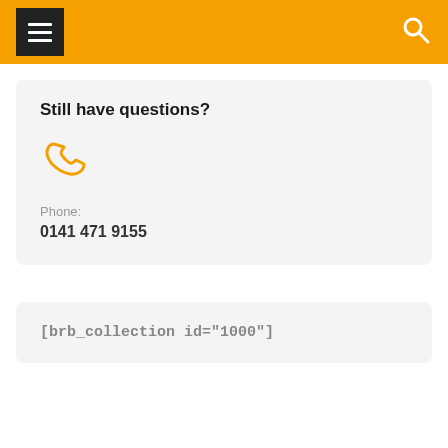Navigation header with hamburger menu and search icon
Still have questions?
[Figure (illustration): Orange phone/telephone icon]
Phone:
0141 471 9155
[brb_collection id="1000"]